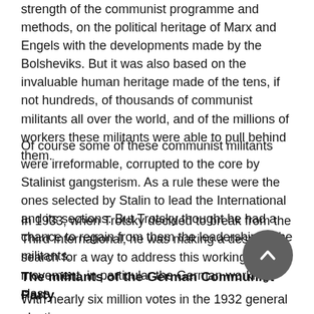strength of the communist programme and methods, on the political heritage of Marx and Engels with the developments made by the Bolsheviks. But it was also based on the invaluable human heritage made of the tens, if not hundreds, of thousands of communist militants all over the world, and of the millions of workers these militants were able to pull behind them.
Of course some of these communist militants were irreformable, corrupted to the core by Stalinist gangsterism. As a rule these were the ones selected by Stalin to lead the International and its sections. But Trotsky thought he had a chance to regain from them the leadership of the militants.
In 1933, when Trotsky decided to break from the Third International, he was making a desperate search for a way to address this working-class movement, in particular the German working-class.
The militants of the German Communist Party
With nearly six million votes in the 1932 general election,